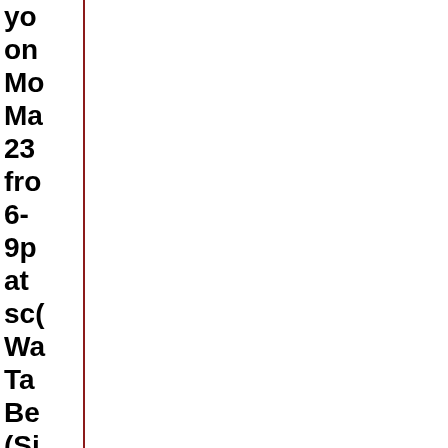yo on Mo Ma 23 fro 6- 9p at sc( Wa Ta Be (Si Sti Se Tic are $3 (8t